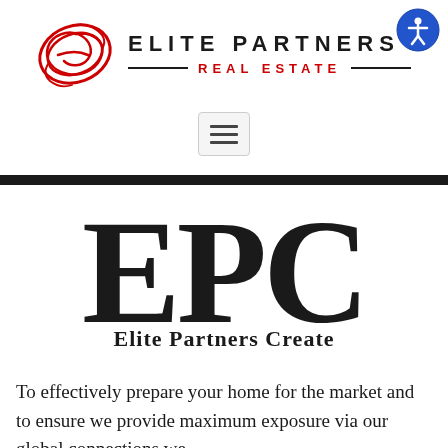[Figure (logo): Elite Partners Real Estate logo with red swirl/circular design on left and company name text on right with REAL ESTATE subtitle in red]
[Figure (other): Hamburger menu button (three horizontal lines) in a rounded rectangle]
[Figure (other): Thick black horizontal divider bar]
[Figure (infographic): Large EPC letters in serif font with 'Elite Partners Create' subtitle text overlaid]
To effectively prepare your home for the market and to ensure we provide maximum exposure via our global connections we